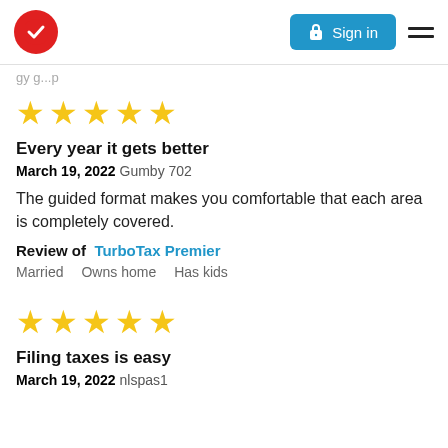TurboTax website header with logo, Sign in button, and hamburger menu
...gy g...p (partial, cut off)
[Figure (other): 5 gold star rating]
Every year it gets better
March 19, 2022 Gumby 702
The guided format makes you comfortable that each area is completely covered.
Review of TurboTax Premier
Married Owns home Has kids
[Figure (other): 5 gold star rating]
Filing taxes is easy
March 19, 2022 nlspas1